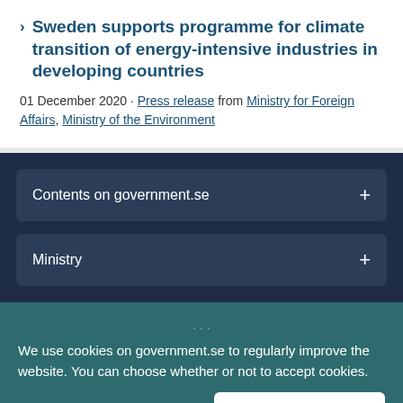Sweden supports programme for climate transition of energy-intensive industries in developing countries
01 December 2020 · Press release from Ministry for Foreign Affairs, Ministry of the Environment
Contents on government.se +
Ministry +
We use cookies on government.se to regularly improve the website. You can choose whether or not to accept cookies.
Read more about cookies.